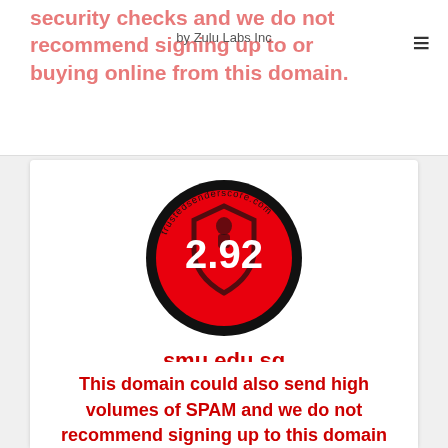security checks and we do not recommend signing up to or buying online from this domain.
by Zulu Labs Inc
[Figure (logo): Red circular badge with black border showing the number 2.92 in white text inside a shield icon, with 'trustedsenderscore.com' text around the circle]
smu.edu.sg
Alert
This domain could also send high volumes of SPAM and we do not recommend signing up to this domain